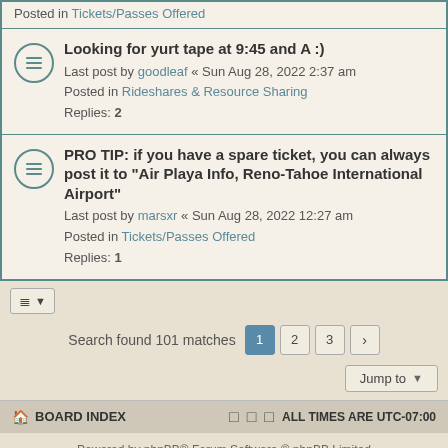Posted in Tickets/Passes Offered
Looking for yurt tape at 9:45 and A :) — Last post by goodleaf « Sun Aug 28, 2022 2:37 am — Posted in Rideshares & Resource Sharing — Replies: 2
PRO TIP: if you have a spare ticket, you can always post it to "Air Playa Info, Reno-Tahoe International Airport" — Last post by marsxr « Sun Aug 28, 2022 12:27 am — Posted in Tickets/Passes Offered — Replies: 1
Search found 101 matches
Jump to
BOARD INDEX    ALL TIMES ARE UTC-07:00
Powered by phpBB® Forum Software © phpBB Limited GZIP: On